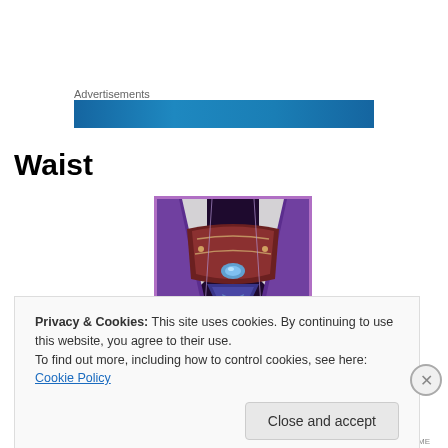Advertisements
[Figure (illustration): Blue advertisement banner]
Waist
[Figure (illustration): Fantasy game armor waist piece with purple border, showing ornate purple and dark red armor with a glowing blue gem in the center]
Privacy & Cookies: This site uses cookies. By continuing to use this website, you agree to their use.
To find out more, including how to control cookies, see here: Cookie Policy
Close and accept